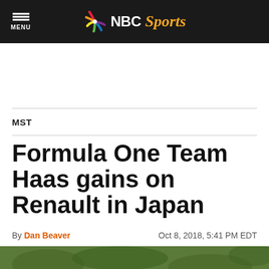NBC Sports — MENU
MST
Formula One Team Haas gains on Renault in Japan
By Dan Beaver   Oct 8, 2018, 5:41 PM EDT
[Figure (photo): Racing car on track at Japanese Grand Prix, blurred green background]